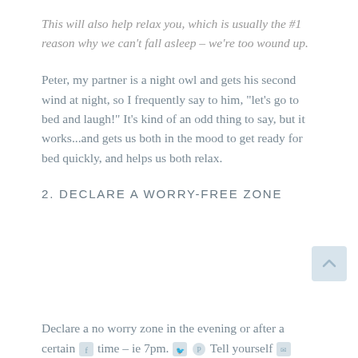This will also help relax you, which is usually the #1 reason why we can't fall asleep – we're too wound up.
Peter, my partner is a night owl and gets his second wind at night, so I frequently say to him, "let's go to bed and laugh!" It's kind of an odd thing to say, but it works...and gets us both in the mood to get ready for bed quickly, and helps us both relax.
2. DECLARE A WORRY-FREE ZONE
Declare a no worry zone in the evening or after a certain time – ie 7pm. Tell yourself